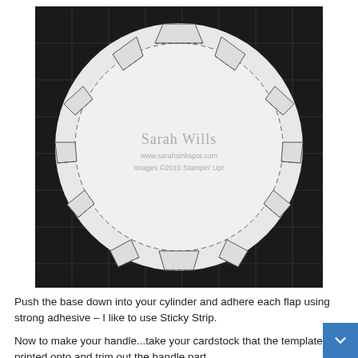[Figure (photo): A circular paper disc with scored flaps around the edge, photographed on a black gridded cutting mat. The disc is white/light grey and shows fold-out triangular tabs around its perimeter. A watermark reads: Sarah Wills, www.sarahsinkspot.com, Images ©2010 Stampin' Up!]
Push the base down into your cylinder and adhere each flap using strong adhesive – I like to use Sticky Strip.
Now to make your handle...take your cardstock that the template is printed onto and trim out the handle part...